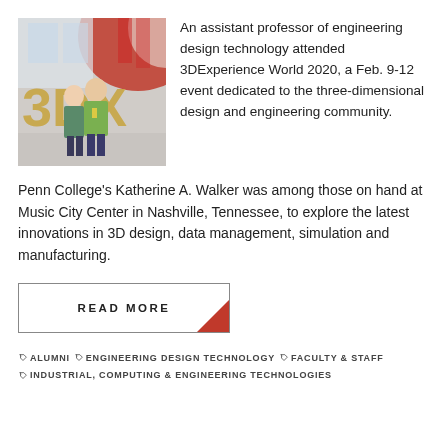[Figure (photo): Two people standing in front of a large '3DX' logo sign at an event venue. The background shows a large red and white decorative installation.]
An assistant professor of engineering design technology attended 3DExperience World 2020, a Feb. 9-12 event dedicated to the three-dimensional design and engineering community.
Penn College's Katherine A. Walker was among those on hand at Music City Center in Nashville, Tennessee, to explore the latest innovations in 3D design, data management, simulation and manufacturing.
READ MORE
ALUMNI  ENGINEERING DESIGN TECHNOLOGY  FACULTY & STAFF  INDUSTRIAL, COMPUTING & ENGINEERING TECHNOLOGIES